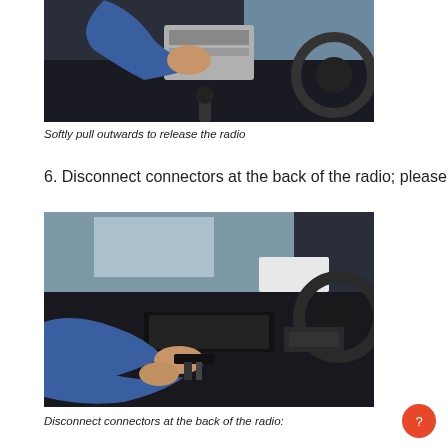[Figure (photo): Person in blue sweatshirt pulling a car radio unit outward from the dashboard of a car interior]
Softly pull outwards to release the radio
6. Disconnect connectors at the back of the radio; please use a
[Figure (photo): Person in blue sweatshirt disconnecting connectors at the back of the car radio, hands visible near the dashboard]
Disconnect connectors at the back of the radio: